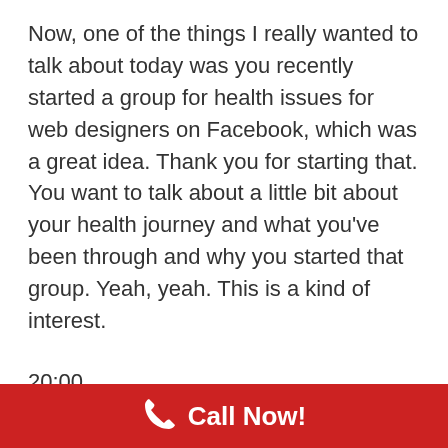Now, one of the things I really wanted to talk about today was you recently started a group for health issues for web designers on Facebook, which was a great idea. Thank you for starting that. You want to talk about a little bit about your health journey and what you've been through and why you started that group. Yeah, yeah. This is a kind of interest.
20:00
Interesting story.
Call Now!